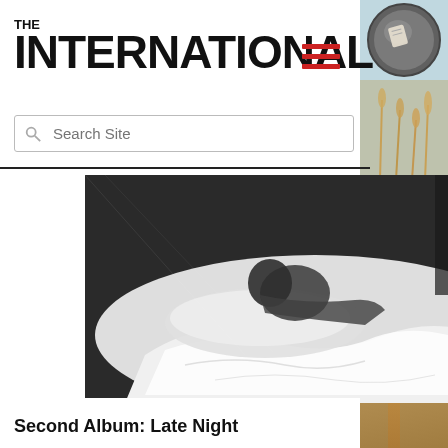THE INTERNATIONAL
[Figure (screenshot): Search bar with magnifying glass icon and placeholder text 'Search Site']
[Figure (photo): Black and white photograph of a person lying in bed under white sheets/duvet, viewed from above]
[Figure (photo): Right side strip showing a blurred warm-toned wheat field photo and a circular tent/overhead image at top right]
Second Album: Late Night
Only knowing one person and one record studio in the music industry in Copenhagen, she was able to overcome obstacles and won a grant from a funding organisation for promising musicians, which allowed her